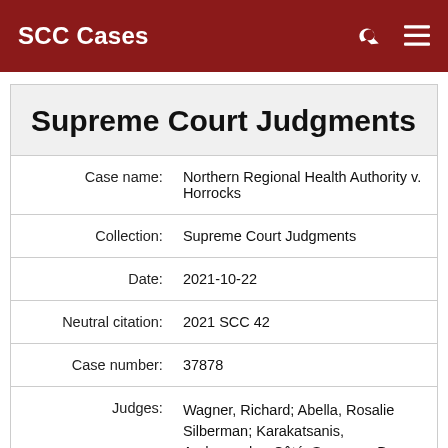SCC Cases
Supreme Court Judgments
| Field | Value |
| --- | --- |
| Case name: | Northern Regional Health Authority v. Horrocks |
| Collection: | Supreme Court Judgments |
| Date: | 2021-10-22 |
| Neutral citation: | 2021 SCC 42 |
| Case number: | 37878 |
| Judges: | Wagner, Richard; Abella, Rosalie Silberman; Karakatsanis, Andromache; Côté, Suzanne; Brown, Russell; Rowe, Malcolm; |